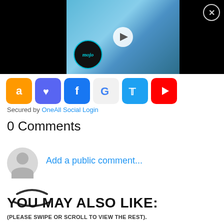[Figure (screenshot): Video player showing anime (One Piece) characters with a play button overlay and WatchMojo logo. Black bars on left and right. Close (X) button in top-right corner.]
[Figure (screenshot): Row of social login icons: Amazon (orange), Discord (purple), Facebook (blue), Google (light grey), Twitter (blue), YouTube (red).]
Secured by OneAll Social Login
0 Comments
[Figure (screenshot): User avatar placeholder (grey silhouette) with 'Add a public comment...' link in blue text, and two loading arc spinner graphics below.]
YOU MAY ALSO LIKE:
(PLEASE SWIPE OR SCROLL TO VIEW THE REST).